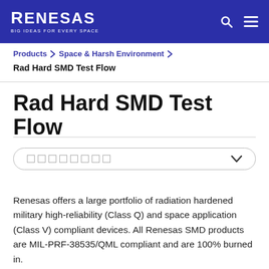RENESAS — BIG IDEAS FOR EVERY SPACE
Products ▶ Space & Harsh Environment ▶
Rad Hard SMD Test Flow
Rad Hard SMD Test Flow
[Figure (other): Dropdown selector UI element with placeholder squares and chevron]
Renesas offers a large portfolio of radiation hardened military high-reliability (Class Q) and space application (Class V) compliant devices. All Renesas SMD products are MIL-PRF-38535/QML compliant and are 100% burned in.